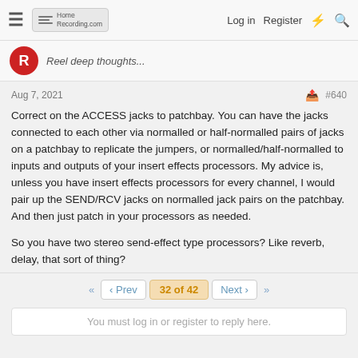HomeRecording.com — Log in  Register
Reel deep thoughts...
Aug 7, 2021  #640
Correct on the ACCESS jacks to patchbay. You can have the jacks connected to each other via normalled or half-normalled pairs of jacks on a patchbay to replicate the jumpers, or normalled/half-normalled to inputs and outputs of your insert effects processors. My advice is, unless you have insert effects processors for every channel, I would pair up the SEND/RCV jacks on normalled jack pairs on the patchbay. And then just patch in your processors as needed.

So you have two stereo send-effect type processors? Like reverb, delay, that sort of thing?
32 of 42  Prev  Next
You must log in or register to reply here.